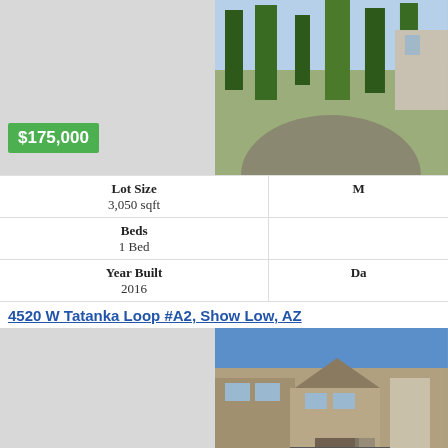[Figure (photo): Property photo showing trees and driveway, partially visible at top of page]
$175,000
| Label | Value |
| --- | --- |
| Lot Size | 3,050 sqft |
| Beds | 1 Bed |
| Year Built | 2016 |
4520 W Tatanka Loop #A2, Show Low, AZ
[Figure (photo): Two-story apartment building with wood siding, stone accents, and covered entry]
$265,000
Lot Size